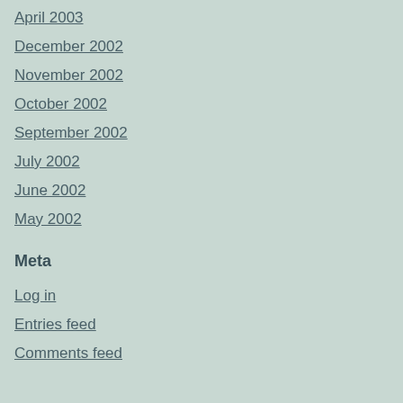April 2003
December 2002
November 2002
October 2002
September 2002
July 2002
June 2002
May 2002
Meta
Log in
Entries feed
Comments feed